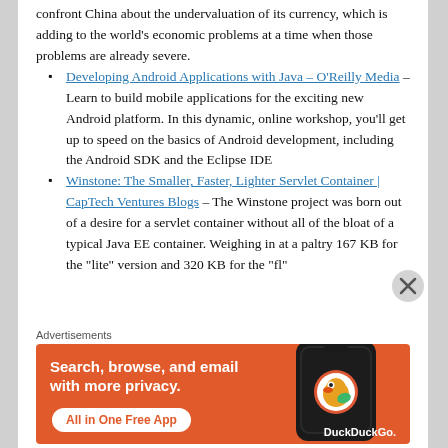confront China about the undervaluation of its currency, which is adding to the world's economic problems at a time when those problems are already severe.
Developing Android Applications with Java – O'Reilly Media – Learn to build mobile applications for the exciting new Android platform. In this dynamic, online workshop, you'll get up to speed on the basics of Android development, including the Android SDK and the Eclipse IDE
Winstone: The Smaller, Faster, Lighter Servlet Container | CapTech Ventures Blogs – The Winstone project was born out of a desire for a servlet container without all of the bloat of a typical Java EE container. Weighing in at a paltry 167 KB for the "lite" version and 320 KB for the "full"
Advertisements
[Figure (photo): DuckDuckGo advertisement banner: orange background with white text 'Search, browse, and email with more privacy. All in One Free App' button, and a phone image with DuckDuckGo logo.]